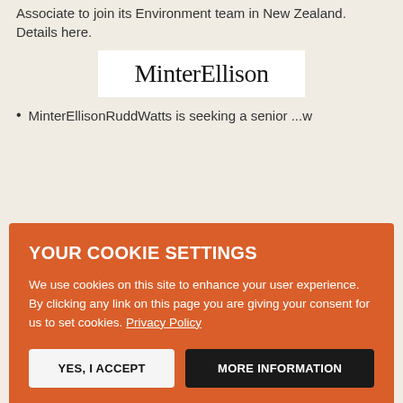Associate to join its Environment team in New Zealand. Details here.
[Figure (logo): MinterEllison logo in serif font on white background]
MinterEllisonRuddWatts is seeking a senior ...w
YOUR COOKIE SETTINGS

We use cookies on this site to enhance your user experience. By clicking any link on this page you are giving your consent for us to set cookies. Privacy Policy

YES, I ACCEPT    MORE INFORMATION
Featured Discussions
Inflation 18% interest rates 7% energy prices up 500% by next January
Started by Guy Crouchback